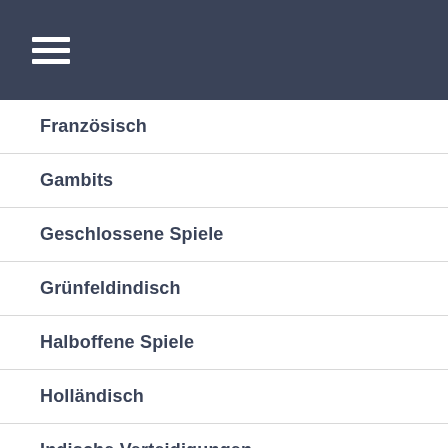≡
Französisch
Gambits
Geschlossene Spiele
Grünfeldindisch
Halboffene Spiele
Holländisch
Indische Verteidigungen
Italienisch